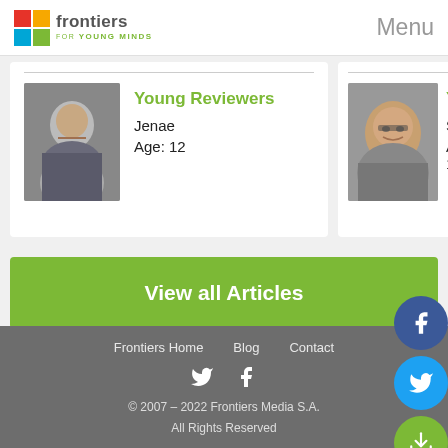Frontiers for Young Minds | Menu
Young Reviewers
Jenae
Age: 12
Young [Reviewers]
Sarit
Age: 14
View all Articles
Frontiers Home   Blog   Contact
© 2007 – 2022 Frontiers Media S.A.
All Rights Reserved